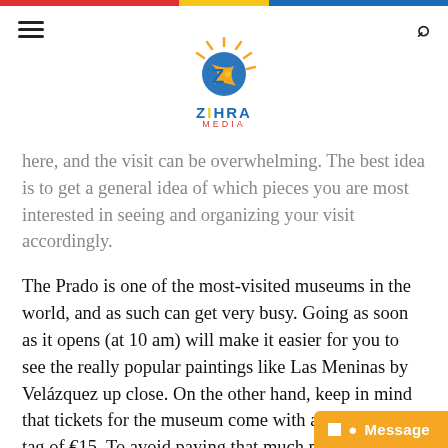Navigation bar with hamburger menu and search icon
[Figure (logo): Zihra Media logo with stylized Z, sun rays, and orange/blue colors]
here, and the visit can be overwhelming. The best idea is to get a general idea of which pieces you are most interested in seeing and organizing your visit accordingly.
The Prado is one of the most-visited museums in the world, and as such can get very busy. Going as soon as it opens (at 10 am) will make it easier for you to see the really popular paintings like Las Meninas by Velázquez up close. On the other hand, keep in mind that tickets for the museum come with a hefty price tag of €15. To avoid paying that much money you can take advantage of the free access times (6-8 pm from Monday to Saturday and 5-7 pm on Su